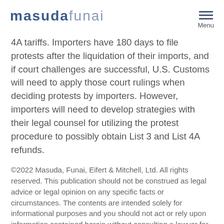[Figure (logo): masudafunai logo in blue/grey with hamburger menu icon and 'Menu' text]
4A tariffs. Importers have 180 days to file protests after the liquidation of their imports, and if court challenges are successful, U.S. Customs will need to apply those court rulings when deciding protests by importers. However, importers will need to develop strategies with their legal counsel for utilizing the protest procedure to possibly obtain List 3 and List 4A refunds.
©2022 Masuda, Funai, Eifert & Mitchell, Ltd. All rights reserved. This publication should not be construed as legal advice or legal opinion on any specific facts or circumstances. The contents are intended solely for informational purposes and you should not act or rely upon information contained herein without consulting a lawyer for advice. This publication may constitute Advertising Material.